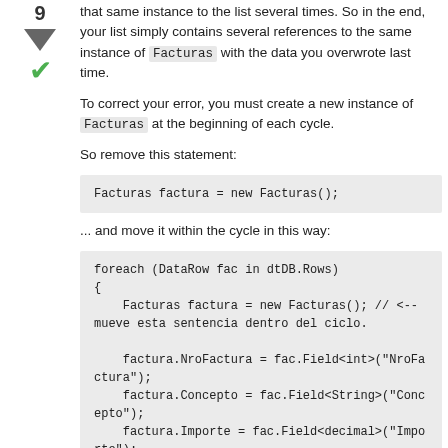9
that same instance to the list several times. So in the end, your list simply contains several references to the same instance of Facturas with the data you overwrote last time.
To correct your error, you must create a new instance of Facturas at the beginning of each cycle.
So remove this statement:
... and move it within the cycle in this way: